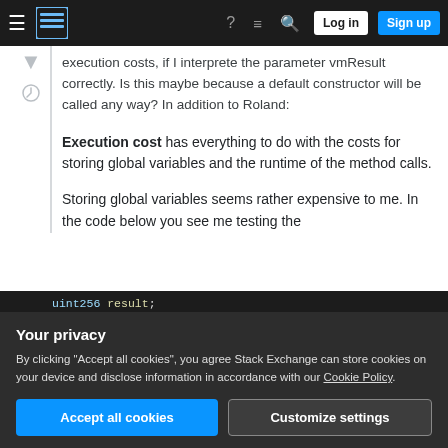Stack Exchange navigation bar with hamburger menu, logo, help, chat, search, Log in, Sign up
execution costs, if I interprete the parameter vmResult correctly. Is this maybe because a default constructor will be called any way? In addition to Roland:
Execution cost has everything to do with the costs for storing global variables and the runtime of the method calls.
Storing global variables seems rather expensive to me. In the code below you see me testing the
Your privacy
By clicking "Accept all cookies", you agree Stack Exchange can store cookies on your device and disclose information in accordance with our Cookie Policy.
Accept all cookies  Customize settings
uint256 result;
function modRow2() returns (uint res){